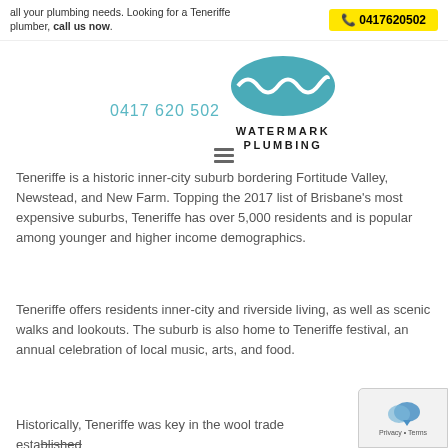all your plumbing needs. Looking for a Teneriffe plumber, call us now. [phone button: 0417620502]
[Figure (logo): Watermark Plumbing logo: teal oval with wavy line, phone number 0417 620 502 on left, company name WATERMARK PLUMBING below oval]
Teneriffe is a historic inner-city suburb bordering Fortitude Valley, Newstead, and New Farm. Topping the 2017 list of Brisbane's most expensive suburbs, Teneriffe has over 5,000 residents and is popular among younger and higher income demographics.
Teneriffe offers residents inner-city and riverside living, as well as scenic walks and lookouts. The suburb is also home to Teneriffe festival, an annual celebration of local music, arts, and food.
Historically, Teneriffe was key in the wool trade established...